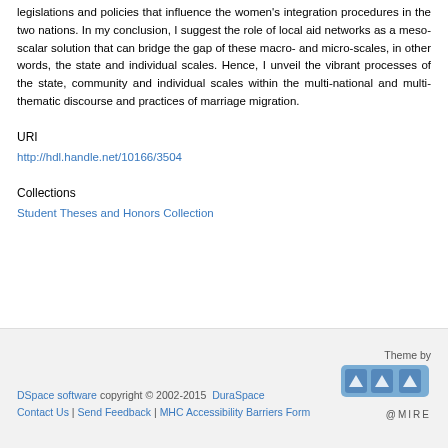legislations and policies that influence the women's integration procedures in the two nations. In my conclusion, I suggest the role of local aid networks as a meso-scalar solution that can bridge the gap of these macro- and micro-scales, in other words, the state and individual scales. Hence, I unveil the vibrant processes of the state, community and individual scales within the multi-national and multi-thematic discourse and practices of marriage migration.
URI
http://hdl.handle.net/10166/3504
Collections
Student Theses and Honors Collection
DSpace software copyright © 2002-2015  DuraSpace
Contact Us | Send Feedback | MHC Accessibility Barriers Form
Theme by @MIRE